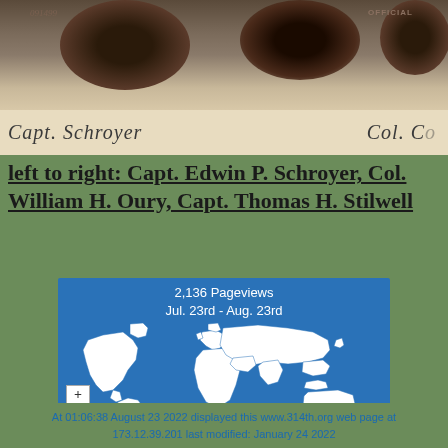[Figure (photo): Sepia-toned historical photograph showing partial view of military officers, with handwritten caption reading 'Capt. Schroyer' and partial text on right side. Stamp markings visible including a number and 'OFFICIAL'.]
left to right: Capt. Edwin P. Schroyer, Col. William H. Oury, Capt. Thomas H. Stilwell
[Figure (map): World map showing pageview statistics: 2,136 Pageviews, Jul. 23rd - Aug. 23rd. Blue background with white country outlines. Map controls (+/-) visible in lower left.]
At 01:06:38 August 23 2022 displayed this www.314th.org web page at 173.12.39.201 last modified: January 24 2022